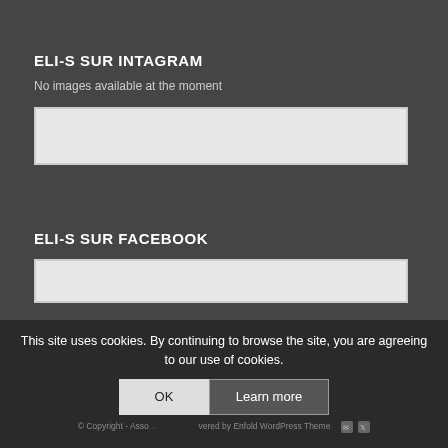ELI-S SUR INTAGRAM
No images available at the moment
[Figure (other): Instagram widget placeholder box]
ELI-S SUR FACEBOOK
[Figure (other): Facebook widget placeholder box]
This site uses cookies. By continuing to browse the site, you are agreeing to our use of cookies.
OK
Learn more
© Copyright - Asso... · Powered by Enfold WordPress Theme